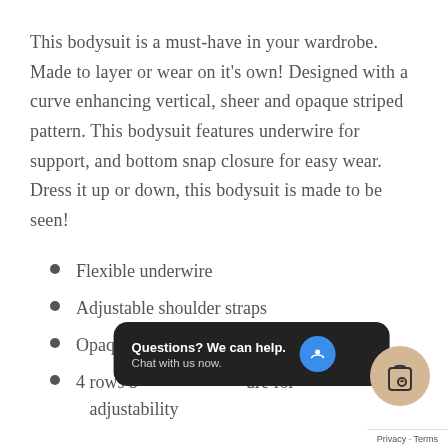This bodysuit is a must-have in your wardrobe. Made to layer or wear on it's own! Designed with a curve enhancing vertical, sheer and opaque striped pattern. This bodysuit features underwire for support, and bottom snap closure for easy wear. Dress it up or down, this bodysuit is made to be seen!
Flexible underwire
Adjustable shoulder straps
Opaque … cro-fi…
4 rows … ure for adjustability